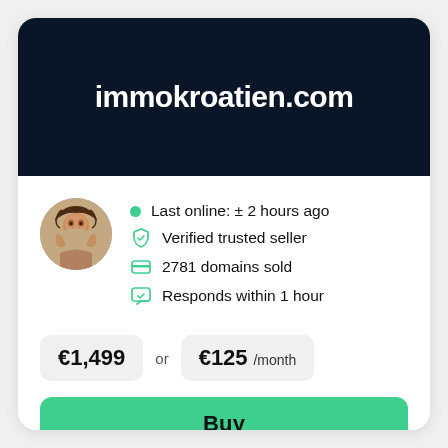immokroatien.com
Last online: ± 2 hours ago
Verified trusted seller
2781 domains sold
Responds within 1 hour
€1,499 or €125 /month
Buy